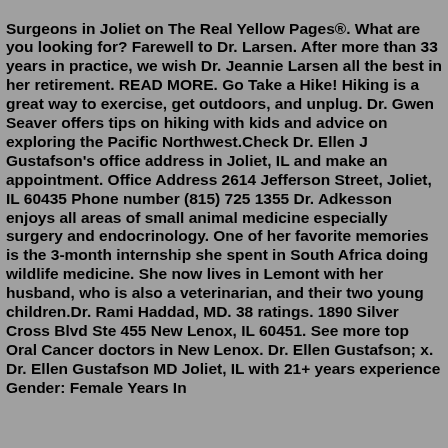Surgeons in Joliet on The Real Yellow Pages®. What are you looking for? Farewell to Dr. Larsen. After more than 33 years in practice, we wish Dr. Jeannie Larsen all the best in her retirement. READ MORE. Go Take a Hike! Hiking is a great way to exercise, get outdoors, and unplug. Dr. Gwen Seaver offers tips on hiking with kids and advice on exploring the Pacific Northwest.Check Dr. Ellen J Gustafson's office address in Joliet, IL and make an appointment. Office Address 2614 Jefferson Street, Joliet, IL 60435 Phone number (815) 725 1355 Dr. Adkesson enjoys all areas of small animal medicine especially surgery and endocrinology. One of her favorite memories is the 3-month internship she spent in South Africa doing wildlife medicine. She now lives in Lemont with her husband, who is also a veterinarian, and their two young children.Dr. Rami Haddad, MD. 38 ratings. 1890 Silver Cross Blvd Ste 455 New Lenox, IL 60451. See more top Oral Cancer doctors in New Lenox. Dr. Ellen Gustafson; x. Dr. Ellen Gustafson MD Joliet, IL with 21+ years experience Gender: Female Years In